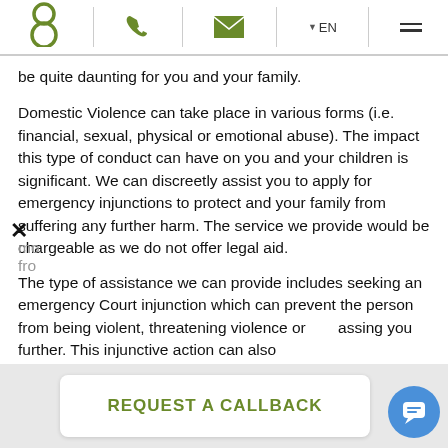Navigation bar with logo, phone, mail, EN language selector, and menu
be quite daunting for you and your family.
Domestic Violence can take place in various forms (i.e. financial, sexual, physical or emotional abuse). The impact this type of conduct can have on you and your children is significant. We can discreetly assist you to apply for emergency injunctions to protect and your family from suffering any further harm. The service we provide would be chargeable as we do not offer legal aid.
The type of assistance we can provide includes seeking an emergency Court injunction which can prevent the person from being violent, threatening violence or harassing you further. This injunctive action can also
REQUEST A CALLBACK